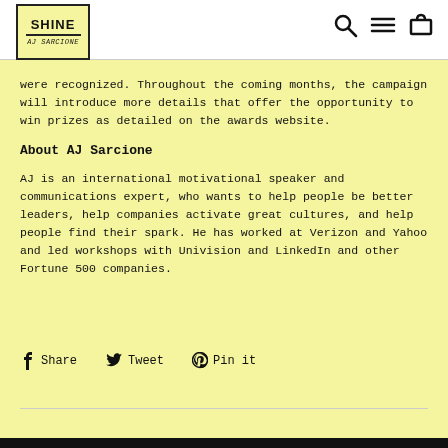SHINE AJ SARCIONE
were recognized. Throughout the coming months, the campaign will introduce more details that offer the opportunity to win prizes as detailed on the awards website.
About AJ Sarcione
AJ is an international motivational speaker and communications expert, who wants to help people be better leaders, help companies activate great cultures, and help people find their spark. He has worked at Verizon and Yahoo and led workshops with Univision and LinkedIn and other Fortune 500 companies.
Share  Tweet  Pin it